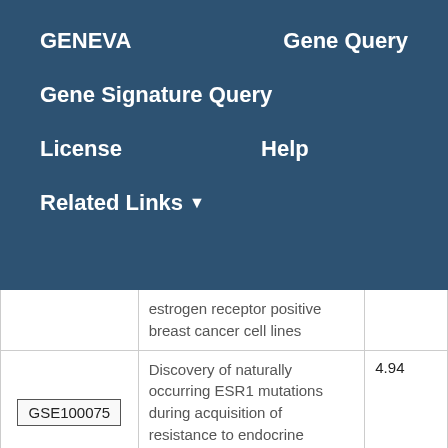GENEVA   Gene Query
Gene Signature Query
License   Help
Related Links ▼
|  | estrogen receptor positive breast cancer cell lines |  |
| GSE100075 | Discovery of naturally occurring ESR1 mutations during acquisition of resistance to endocrine therapy in widely used | 4.94 |